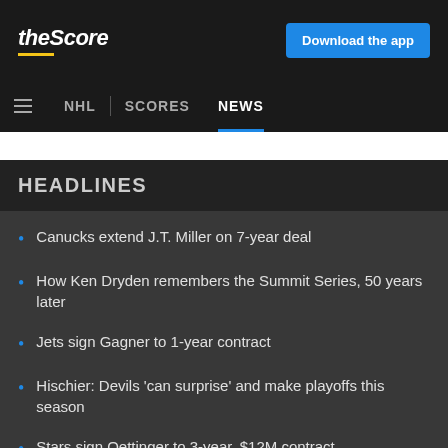theScore | Download the app
NHL | SCORES | NEWS
HEADLINES
Canucks extend J.T. Miller on 7-year deal
How Ken Dryden remembers the Summit Series, 50 years later
Jets sign Gagner to 1-year contract
Hischier: Devils 'can surprise' and make playoffs this season
Stars sign Oettinger to 3-year, $12M contract